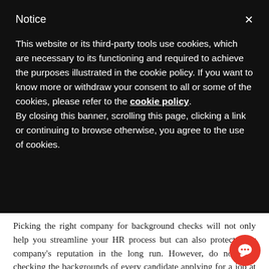Notice
This website or its third-party tools use cookies, which are necessary to its functioning and required to achieve the purposes illustrated in the cookie policy. If you want to know more or withdraw your consent to all or some of the cookies, please refer to the cookie policy.
By closing this banner, scrolling this page, clicking a link or continuing to browse otherwise, you agree to the use of cookies.
Picking the right company for background checks will not only help you streamline your HR process but can also protect your company’s reputation in the long run. However, do not start checking the backgrounds of every candidate applying for a job at your organization, as this activity entails significant expenditure. Conducting background check of shortlisted candidate(s) before agreement between an employer and employee is signed is